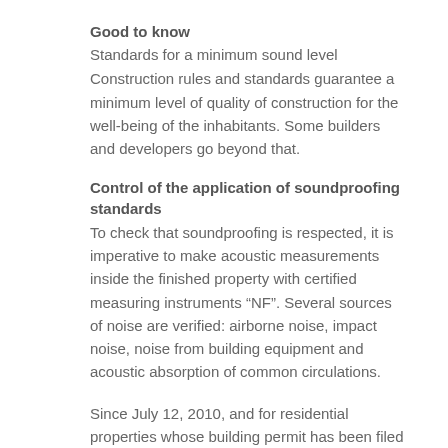Good to know
Standards for a minimum sound level
Construction rules and standards guarantee a minimum level of quality of construction for the well-being of the inhabitants. Some builders and developers go beyond that.
Control of the application of soundproofing standards
To check that soundproofing is respected, it is imperative to make acoustic measurements inside the finished property with certified measuring instruments “NF”. Several sources of noise are verified: airborne noise, impact noise, noise from building equipment and acoustic absorption of common circulations.
Since July 12, 2010, and for residential properties whose building permit has been filed after January 1, 2013, the contracting authority has the obligation to provide a certificate of taking into account the acoustic regulations. It is produced at the completion of the works and